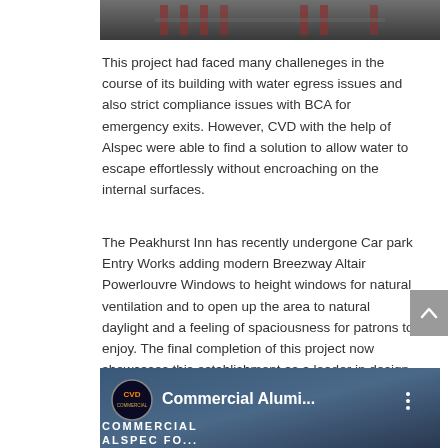[Figure (photo): Top portion of an indoor photo showing scaffolding or metal framework structure in a dark setting]
This project had faced many challeneges in the course of its building with water egress issues and also strict compliance issues with BCA for emergency exits. However, CVD with the help of Alspec were able to find a solution to allow water to escape effortlessly without encroaching on the internal surfaces.
The Peakhurst Inn has recently undergone Car park Entry Works adding modern Breezway Altair Powerlouvre Windows to height windows for natural ventilation and to open up the area to natural daylight and a feeling of spaciousness for patrons to enjoy. The final completion of this project now showcases this establishment as a leader in design and finishes for JDA Hotels and a benchmark for all other venues.
[Figure (screenshot): Video thumbnail showing CVD logo on left, text Commercial Alumi... in white on dark teal/blue background with COMMERCIAL and ALSPEC text visible, and a vertical dots menu icon]